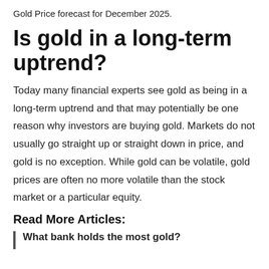Gold Price forecast for December 2025.
Is gold in a long-term uptrend?
Today many financial experts see gold as being in a long-term uptrend and that may potentially be one reason why investors are buying gold. Markets do not usually go straight up or straight down in price, and gold is no exception. While gold can be volatile, gold prices are often no more volatile than the stock market or a particular equity.
Read More Articles:
What bank holds the most gold?